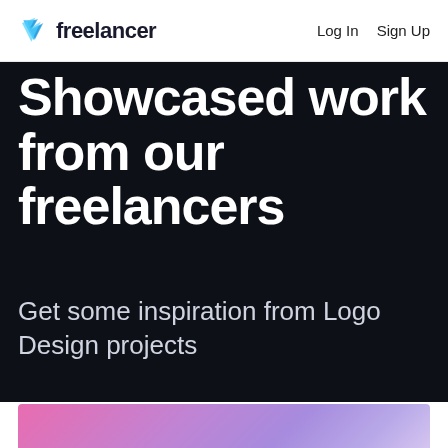Freelancer | Log In  Sign Up
Showcased work from our freelancers
Get some inspiration from Logo Design projects
[Figure (illustration): Pink to purple gradient background strip, partially visible at the bottom of the page, representing a portfolio showcase card.]